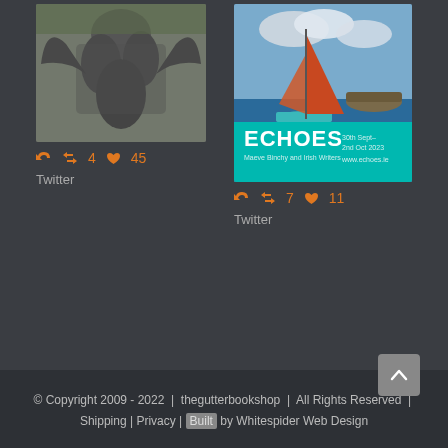[Figure (photo): Black and white photo of a bronze statue showing winged figures, appears to be a memorial sculpture outdoors]
↩ 🔁4 ♥45
Twitter
[Figure (photo): Color photo of a red-sailed boat on blue water with an island in background, overlaid with ECHOES event poster (teal background) - Maeve Binchy and Irish Writers, 30th Sept - 2nd Oct 2023, www.echoes.ie]
↩ 🔁7 ♥11
Twitter
© Copyright 2009 - 2022  |  thegutterbookshop  |  All Rights Reserved  |  Shipping | Privacy | Built by Whitespider Web Design